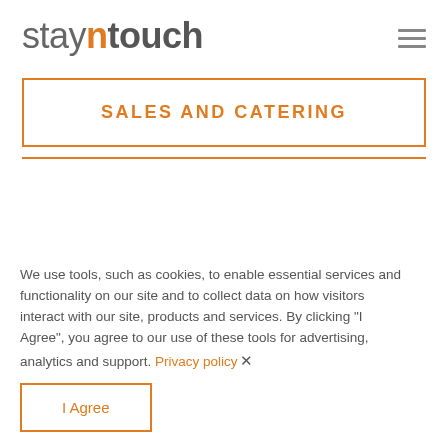stayntouch
SALES AND CATERING
We use tools, such as cookies, to enable essential services and functionality on our site and to collect data on how visitors interact with our site, products and services. By clicking "I Agree", you agree to our use of these tools for advertising, analytics and support. Privacy policy
I Agree